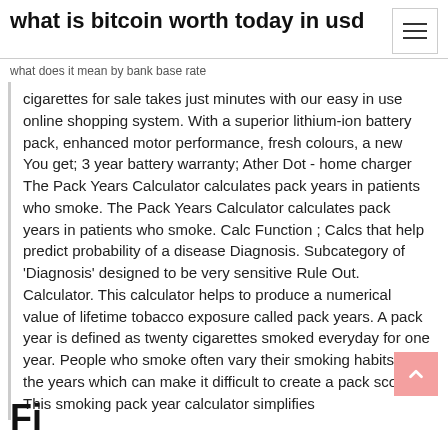what is bitcoin worth today in usd
what does it mean by bank base rate
cigarettes for sale takes just minutes with our easy in use online shopping system. With a superior lithium-ion battery pack, enhanced motor performance, fresh colours, a new You get; 3 year battery warranty; Ather Dot - home charger  The Pack Years Calculator calculates pack years in patients who smoke. The Pack Years Calculator calculates pack years in patients who smoke. Calc Function ; Calcs that help predict probability of a disease Diagnosis. Subcategory of 'Diagnosis' designed to be very sensitive Rule Out. Calculator. This calculator helps to produce a numerical value of lifetime tobacco exposure called pack years. A pack year is defined as twenty cigarettes smoked everyday for one year. People who smoke often vary their smoking habits over the years which can make it difficult to create a pack score. This smoking pack year calculator simplifies
Fi